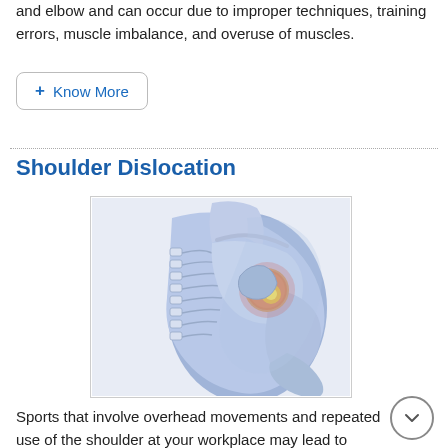and elbow and can occur due to improper techniques, training errors, muscle imbalance, and overuse of muscles.
+ Know More
Shoulder Dislocation
[Figure (illustration): Medical illustration of a shoulder dislocation showing the dislocated ball joint of the upper arm bone from the shoulder socket, with redness and inflammation highlighted at the joint area.]
Sports that involve overhead movements and repeated use of the shoulder at your workplace may lead to sliding of the upper arm bone from the glenoid. The dislocation might be